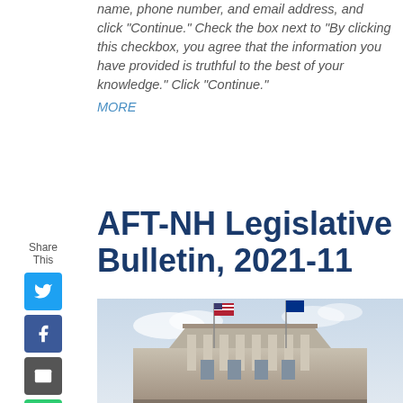name, phone number, and email address, and click "Continue." Check the box next to "By clicking this checkbox, you agree that the information you have provided is truthful to the best of your knowledge." Click "Continue."
MORE
AFT-NH Legislative Bulletin, 2021-11
[Figure (photo): Low-angle photograph of a government capitol building with columns and flags (American flag and another flag) flying at the top]